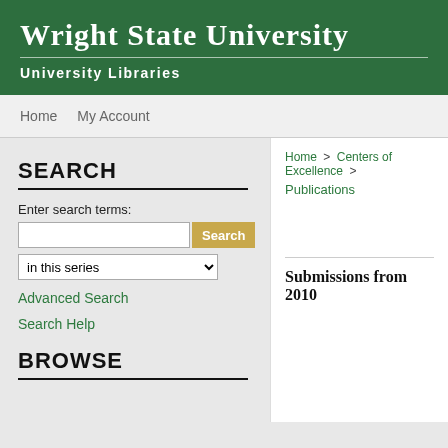Wright State University
University Libraries
Home   My Account
SEARCH
Enter search terms:
in this series
Advanced Search
Search Help
BROWSE
Home > Centers of Excellence > Publications
Submissions from 2010